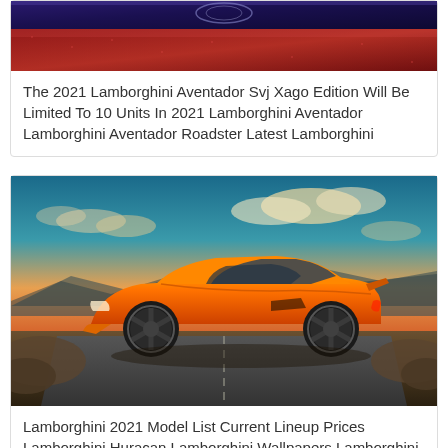[Figure (photo): Close-up of a red/maroon Lamborghini Aventador SVJ Xago Edition, showing detailed bodywork texture with blue background]
The 2021 Lamborghini Aventador Svj Xago Edition Will Be Limited To 10 Units In 2021 Lamborghini Aventador Lamborghini Aventador Roadster Latest Lamborghini
[Figure (photo): Orange Lamborghini Huracan side profile shot at sunset/dusk, driving on a road with rocky terrain and dramatic cloudy sky in the background]
Lamborghini 2021 Model List Current Lineup Prices Lamborghini Huracan Lamborghini Wallpapers Lamborghini